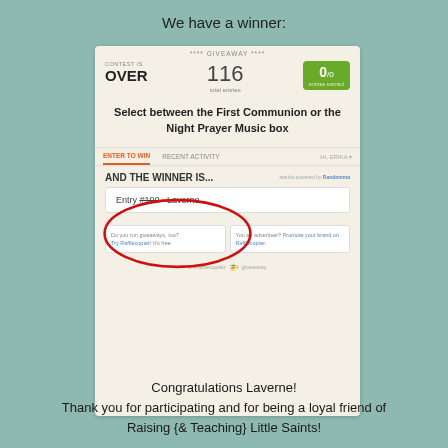We have a winner:
[Figure (screenshot): Rafflecopter giveaway screenshot showing contest is over with 116 total entries, 0/0 entries earned. Title: Select between the First Communion or the Night Prayer Music box. Winner section shows Entry #100 Laverne, circled in red.]
Congratulations Laverne!
Thank you for participating and for being a loyal friend of Raising {& Teaching} Little Saints!